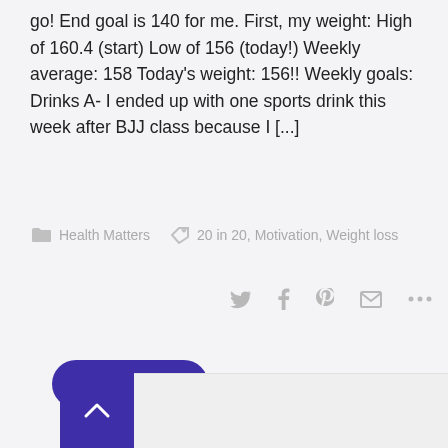go! End goal is 140 for me. First, my weight: High of 160.4 (start) Low of 156 (today!) Weekly average: 158 Today's weight: 156!! Weekly goals: Drinks A- I ended up with one sports drink this week after BJJ class because I [...]
Health Matters   20 in 20, Motivation, Weight loss
[Figure (infographic): Social share icons: Twitter bird, Facebook f, Pinterest P, envelope/mail, ellipsis more]
Read More
< Newer Entries
Older Entries >
[Figure (other): Scroll to top button - dark purple square with white upward chevron]